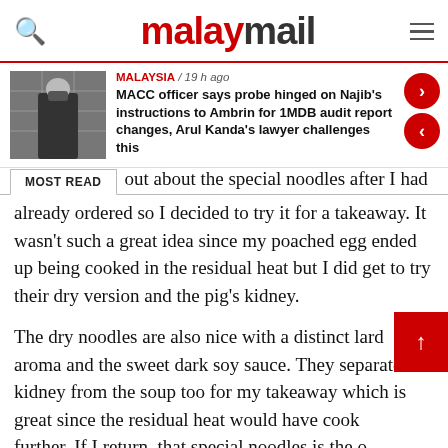malaymail
[Figure (photo): Thumbnail photo of a person in a suit wearing a face mask, standing in front of a building]
MALAYSIA / 19 h ago
MACC officer says probe hinged on Najib's instructions to Ambrin for 1MDB audit report changes, Arul Kanda's lawyer challenges this
MOST READ
out about the special noodles after I had already ordered so I decided to try it for a takeaway. It wasn't such a great idea since my poached egg ended up being cooked in the residual heat but I did get to try their dry version and the pig's kidney.
The dry noodles are also nice with a distinct lard aroma and the sweet dark soy sauce. They separate the kidney from the soup too for my takeaway which is great since the residual heat would have cook further. If I return, that special noodles is the o definitely want to eat there.
Do take note that they will be closed for four days